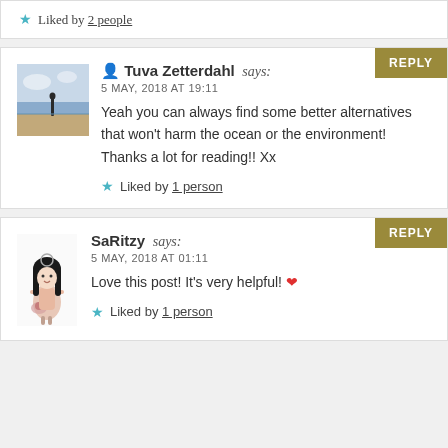★ Liked by 2 people
Tuva Zetterdahl says: 5 MAY, 2018 AT 19:11 — Yeah you can always find some better alternatives that won't harm the ocean or the environment! Thanks a lot for reading!! Xx — Liked by 1 person
SaRitzy says: 5 MAY, 2018 AT 01:11 — Love this post! It's very helpful! ❤ — Liked by 1 person